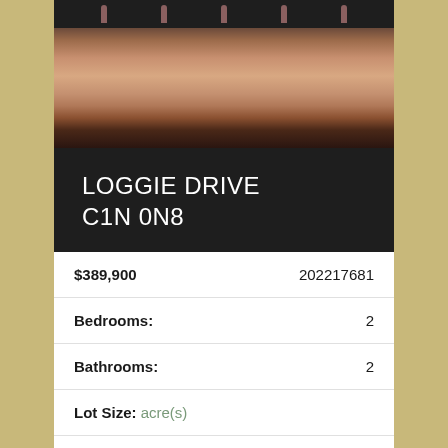[Figure (photo): Exterior photo of property showing roofline and wooden structure elements, dark background with terracotta/wood tones]
LOGGIE DRIVE
C1N 0N8
| $389,900 | 202217681 |
| Bedrooms: | 2 |
| Bathrooms: | 2 |
| Lot Size: acre(s) |  |
| Living Area: (sq. ft.) | 1277 |
|  |  |
More about this Property